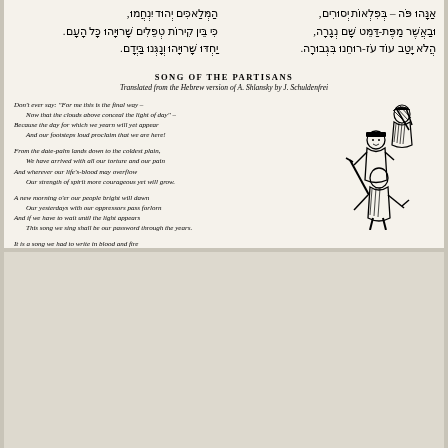Hebrew text (right column): אַנָּהוּ פֹּה – בְּפִלְאוֹת יְסוּרִים, וּבַאֲשֶׁר מַפֶּת-דַּמֵּט שָׁם נְגָרָה, הֲלֹא יָטַב עוֹד עֹז-רוּחֵנוּ בִּגְבוּרָה.
Hebrew text (left column): הַמְּלַאכִּים יְהוּד יִנְחֲמוּ, כִּי בֵּין קִירוֹת טְפֵלִים שָׁרוּיָהוּ כָּל הָעָם. יַחְדּוּ שָׁרוּיָהוּ וְנָגְּנוּ בַּיְדָם.
SONG OF THE PARTISANS
Translated from the Hebrew version of A. Shlansky by J. Schuldenfrei
Don't ever say: "For me this is the final way –
  Now that the clouds above conceal the light of day" –
Because the day for which we yearn will yet appear
  And our footsteps loud proclaim that we are here!

From the date-palm lands down to the coldest plain,
  We have arrived with all our torture and our pain
And wherever our life's-blood may overflow
  Our strength of spirit more courageous yet will grow.

A new morning o'er our people bright will dawn
  Our yesterdays with our oppressors pass forlorn
And if we have to wait until the light appears
  This song we sing shall be our password through the years.

It is a song we had to write in blood and fire
  Not the song of birds that freely soar yet higher
But from behind their falling walls our people sing
  This song, together with their firearms in their hand.
[Figure (illustration): Black and white line drawing of three partisan figures, one holding a rifle, stylized woodcut-style illustration]
74